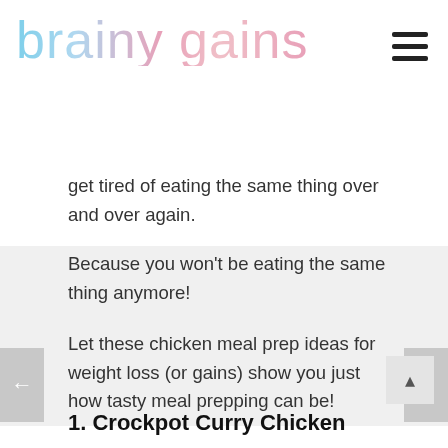brainy gains
get tired of eating the same thing over and over again.
Because you won't be eating the same thing anymore!
Let these chicken meal prep ideas for weight loss (or gains) show you just how tasty meal prepping can be!
1. Crockpot Curry Chicken